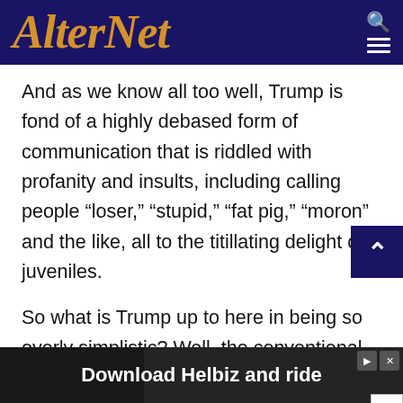AlterNet
And as we know all too well, Trump is fond of a highly debased form of communication that is riddled with profanity and insults, including calling people “loser,” “stupid,” “fat pig,” “moron” and the like, all to the titillating delight of juveniles.
So what is Trump up to here in being so overly simplistic? Well, the conventional wisdom is that Trump is a demagogue who intentionally
[Figure (screenshot): Advertisement banner: 'Download Helbiz and ride' with a bicycle handlebar image in the background. Ad controls (play and close buttons) visible on the right side.]